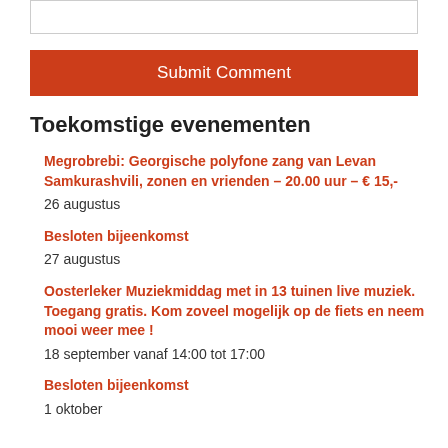[input box]
Submit Comment
Toekomstige evenementen
Megrobrebi: Georgische polyfone zang van Levan Samkurashvili, zonen en vrienden – 20.00 uur – € 15,-
26 augustus
Besloten bijeenkomst
27 augustus
Oosterleker Muziekmiddag met in 13 tuinen live muziek. Toegang gratis. Kom zoveel mogelijk op de fiets en neem mooi weer mee !
18 september vanaf 14:00 tot 17:00
Besloten bijeenkomst
1 oktober